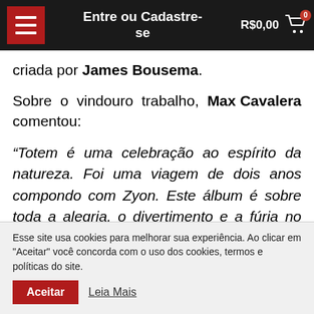Entre ou Cadastre-se | R$0,00
criada por James Bousema.
Sobre o vindouro trabalho, Max Cavalera comentou:
“Totem é uma celebração ao espírito da natureza. Foi uma viagem de dois anos compondo com Zyon. Este álbum é sobre toda a alegria, o divertimento e a fúria no Metal”.
Esse site usa cookies para melhorar sua experiência. Ao clicar em "Aceitar" você concorda com o uso dos cookies, termos e políticas do site.